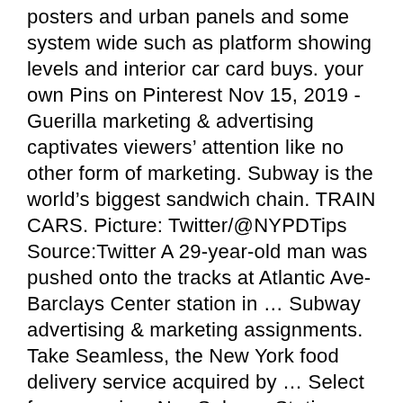posters and urban panels and some system wide such as platform showing levels and interior car card buys. your own Pins on Pinterest Nov 15, 2019 - Guerilla marketing & advertising captivates viewers' attention like no other form of marketing. Subway is the world's biggest sandwich chain. TRAIN CARS. Picture: Twitter/@NYPDTips Source:Twitter A 29-year-old man was pushed onto the tracks at Atlantic Ave-Barclays Center station in … Subway advertising & marketing assignments. Take Seamless, the New York food delivery service acquired by … Select from premium Nyc Subway Station Advertising of the highest quality. All rights reserved. Subway advertising now includes space on the front of the city's fare cards. Doctor's Associates (Subway) advertising spending in the United States from 2012 to 2019 (in million U.S. dollars) [Graph]. Select from premium Nyc Subway Advertising of the highest quality. In Statista . For advertisers big and small, advertising inside PATH and New Jersey Transit subway cars and subway stations. He was quoted in the announcement naming Dentsu as the choice on Dec. 11, just a week before he resigned. Van